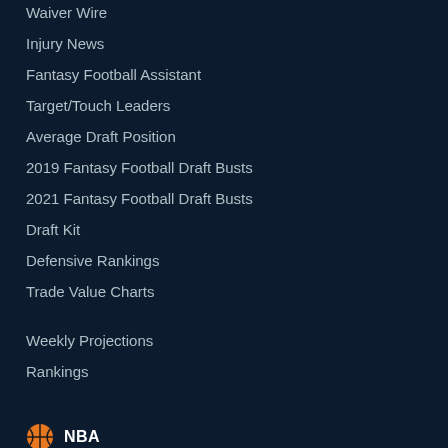Waiver Wire
Injury News
Fantasy Football Assistant
Target/Touch Leaders
Average Draft Position
2019 Fantasy Football Draft Busts
2021 Fantasy Football Draft Busts
Draft Kit
Defensive Rankings
Trade Value Charts
Weekly Projections
Rankings
NBA
Fantasy Basketball Tools
Trade Analyzer
Start/Sit Tool